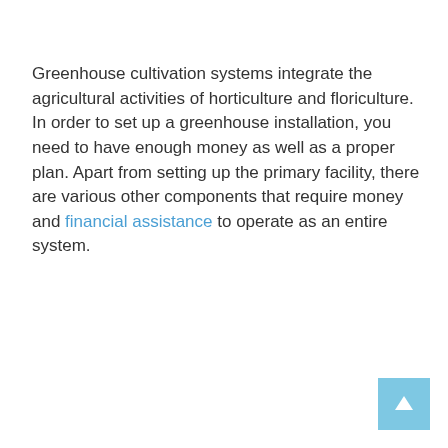Greenhouse cultivation systems integrate the agricultural activities of horticulture and floriculture. In order to set up a greenhouse installation, you need to have enough money as well as a proper plan. Apart from setting up the primary facility, there are various other components that require money and financial assistance to operate as an entire system.